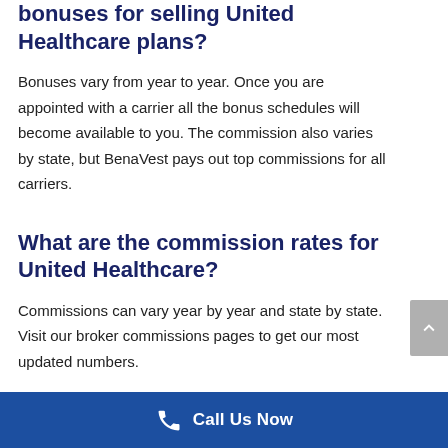bonuses for selling United Healthcare plans?
Bonuses vary from year to year. Once you are appointed with a carrier all the bonus schedules will become available to you. The commission also varies by state, but BenaVest pays out top commissions for all carriers.
What are the commission rates for United Healthcare?
Commissions can vary year by year and state by state. Visit our broker commissions pages to get our most updated numbers.
Call Us Now